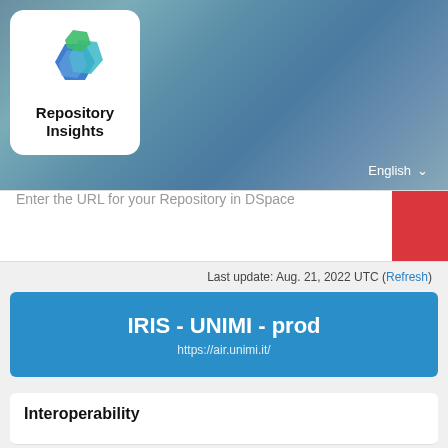[Figure (logo): Repository Insights logo with hexagonal gem shapes in blue, teal, and green, on a white rounded card, over a blue-green gradient header background]
English ▾
Enter the URL for your Repository in DSpace
Last update: Aug. 21, 2022 UTC (Refresh)
IRIS - UNIMI - prod
https://air.unimi.it/
Interoperability